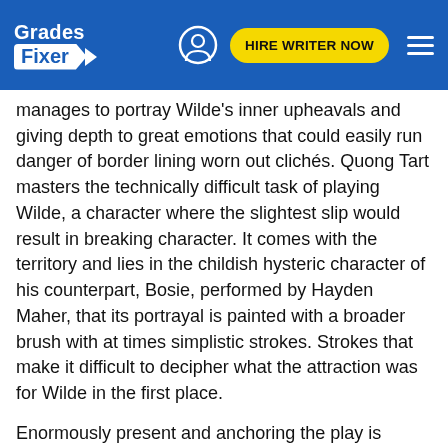Grades Fixer | HIRE WRITER NOW
manages to portray Wilde's inner upheavals and giving depth to great emotions that could easily run danger of border lining worn out clichés. Quong Tart masters the technically difficult task of playing Wilde, a character where the slightest slip would result in breaking character. It comes with the territory and lies in the childish hysteric character of his counterpart, Bosie, performed by Hayden Maher, that its portrayal is painted with a broader brush with at times simplistic strokes. Strokes that make it difficult to decipher what the attraction was for Wilde in the first place.
Enormously present and anchoring the play is Simon London in his intentionally understated yet nuanced role of Wilde's confidante Robbie. The main protagonists are flanked by Robert Alexander,